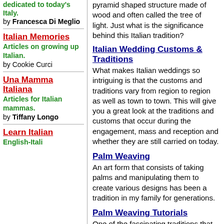dedicated to today's Italy. by Francesca Di Meglio
Italian Memories
Articles on growing up Italian. by Cookie Curci
Una Mamma Italiana
Articles for Italian mammas. by Tiffany Longo
Learn Italian
English-Italian
pyramid shaped structure made of wood and often called the tree of light. Just what is the significance behind this Italian tradition?
Italian Wedding Customs & Traditions
What makes Italian weddings so intriguing is that the customs and traditions vary from region to region as well as town to town. This will give you a great look at the traditions and customs that occur during the engagement, mass and reception and whether they are still carried on today.
Palm Weaving
An art form that consists of taking palms and manipulating them to create various designs has been a tradition in my family for generations.
Palm Weaving Tutorials
One of the fascinating traditions that my family does for Palm Sunday is to create decorative designs using palms. These tutorials will teach you how to make a braid, cone, cross and rose bud.
Il Presepe
One of the most incredible scenes in Italy during Christmas time is the beautiful nativity scenes that